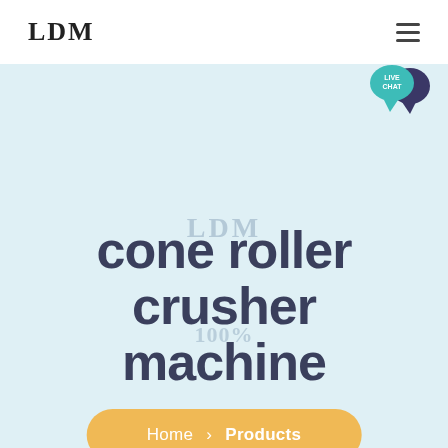LDM
[Figure (logo): LDM company logo text in bold serif font in the navigation bar]
[Figure (illustration): Live Chat speech bubble icon in teal/dark blue at top right]
cone roller crusher machine
LDM (watermark)
100% (watermark)
Home > Products